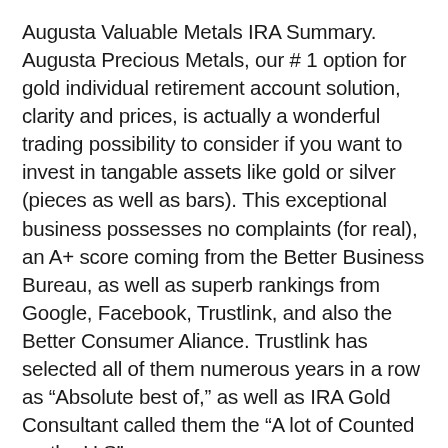Augusta Valuable Metals IRA Summary. Augusta Precious Metals, our # 1 option for gold individual retirement account solution, clarity and prices, is actually a wonderful trading possibility to consider if you want to invest in tangable assets like gold or silver (pieces as well as bars). This exceptional business possesses no complaints (for real), an A+ score coming from the Better Business Bureau, as well as superb rankings from Google, Facebook, Trustlink, and also the Better Consumer Aliance. Trustlink has selected all of them numerous years in a row as “Absolute best of,” as well as IRA Gold Consultant called them the “A lot of Counted on the U.S”.